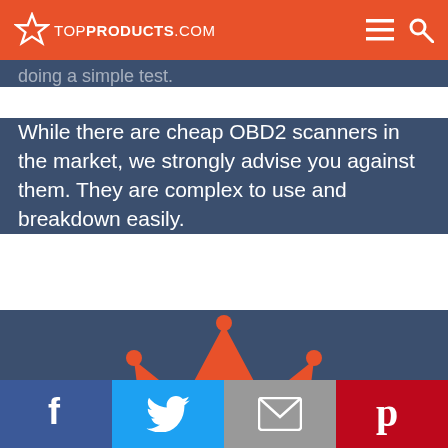TOP PRODUCTS .COM
doing a simple test.
While there are cheap OBD2 scanners in the market, we strongly advise you against them. They are complex to use and breakdown easily.
[Figure (illustration): Orange crown icon centered on dark blue background]
Facebook, Twitter, Email, Pinterest social share buttons